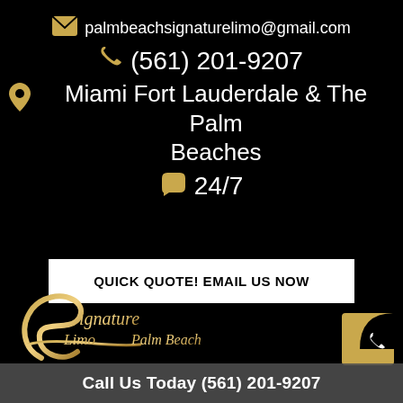palmbeachsignaturelimo@gmail.com
(561) 201-9207
Miami Fort Lauderdale & The Palm Beaches
24/7
QUICK QUOTE! EMAIL US NOW
[Figure (logo): Signature Limo Palm Beach cursive gold logo]
[Figure (other): Gold and black phone icon in square frame bottom right]
Call Us Today (561) 201-9207